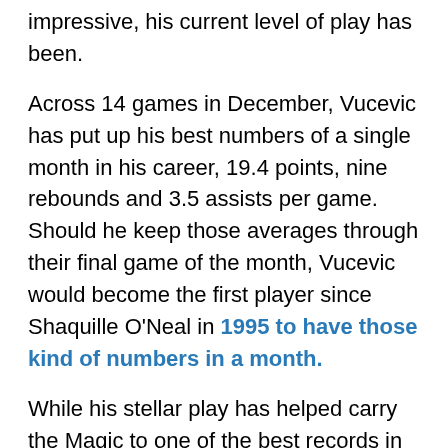impressive, his current level of play has been.
Across 14 games in December, Vucevic has put up his best numbers of a single month in his career, 19.4 points, nine rebounds and 3.5 assists per game. Should he keep those averages through their final game of the month, Vucevic would become the first player since Shaquille O'Neal in 1995 to have those kind of numbers in a month.
While his stellar play has helped carry the Magic to one of the best records in the league over the past month, Vucevic isn't being mentioned by many for an appearance in the All-Star game. This doesn't bother Vucevic, however, who said it's "OK" and that "there's still a long way to go" when asked about the first All-Star game voting returns.